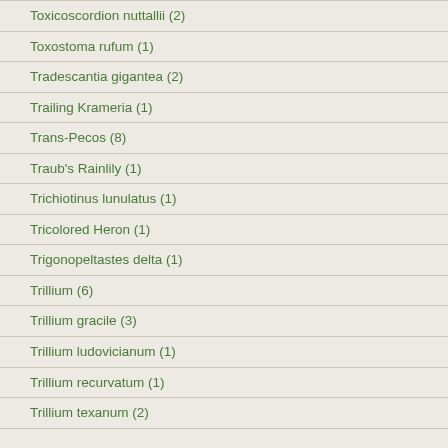Toxicoscordion nuttallii (2)
Toxostoma rufum (1)
Tradescantia gigantea (2)
Trailing Krameria (1)
Trans-Pecos (8)
Traub's Rainlily (1)
Trichiotinus lunulatus (1)
Tricolored Heron (1)
Trigonopeltastes delta (1)
Trillium (6)
Trillium gracile (3)
Trillium ludovicianum (1)
Trillium recurvatum (1)
Trillium texanum (2)